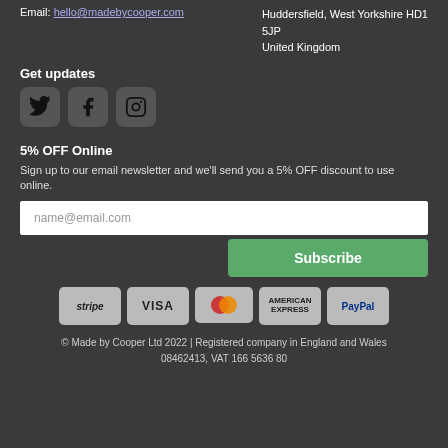Email: hello@madebycooper.com
Huddersfield, West Yorkshire HD1 5JP
United Kingdom
Get updates
[Figure (illustration): Social media icons: Twitter, Facebook, Instagram]
5% OFF Online
Sign up to our email newsletter and we'll send you a 5% OFF discount to use online.
[Figure (other): Email input field with placeholder 'name@email.com' and Subscribe button]
[Figure (other): Payment badges: stripe, VISA, Mastercard, American Express, PayPal]
© Made by Cooper Ltd 2022 | Registered company in England and Wales 08462413, VAT 166 5636 80